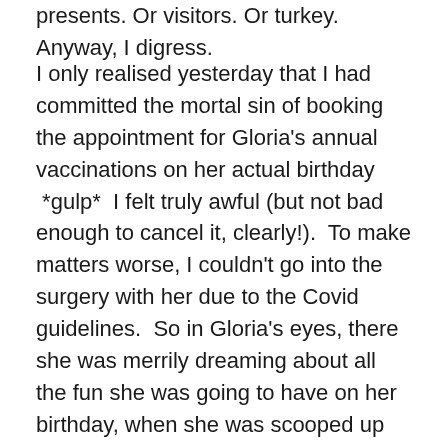presents. Or visitors. Or turkey.  Anyway, I digress.
I only realised yesterday that I had committed the mortal sin of booking the appointment for Gloria's annual vaccinations on her actual birthday  *gulp*  I felt truly awful (but not bad enough to cancel it, clearly!).  To make matters worse, I couldn't go into the surgery with her due to the Covid guidelines.  So in Gloria's eyes, there she was merrily dreaming about all the fun she was going to have on her birthday, when she was scooped up and unceremoniously stuffed into her far-too-small carrier.  To top it all, after being thrown around in the car whilst her Chief Human Staff Member tunelessly serenaded her, she was then kidnapped – yes, kidnapped! – by a lady in a white coat… who proceeded to maul her, shoved a thermometer up her rear end (the cat's rear end, not the vet's in case you were wondering), and stuck a needle in